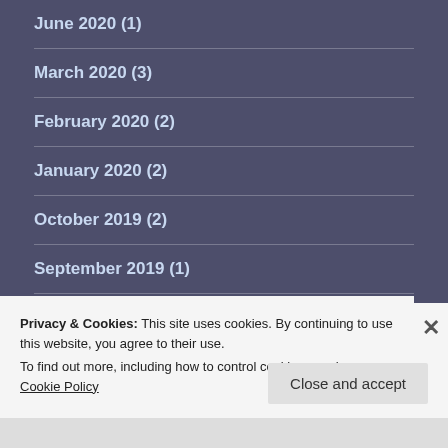June 2020 (1)
March 2020 (3)
February 2020 (2)
January 2020 (2)
October 2019 (2)
September 2019 (1)
Privacy & Cookies: This site uses cookies. By continuing to use this website, you agree to their use.
To find out more, including how to control cookies, see here: Cookie Policy
Close and accept